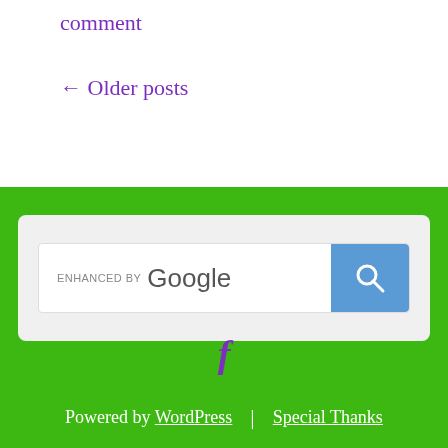comment
← Older posts
[Figure (screenshot): Google enhanced search widget inside a light gray rounded box on a green background, showing a search bar with 'ENHANCED BY Google' label and a blue search button with magnifying glass icon]
f
Powered by WordPress | Special Thanks